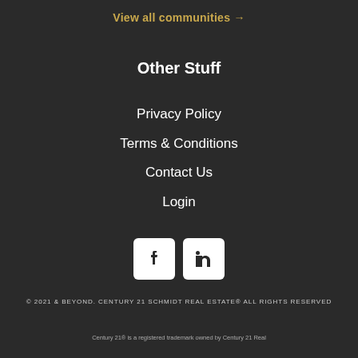View all communities →
Other Stuff
Privacy Policy
Terms & Conditions
Contact Us
Login
[Figure (illustration): Facebook and LinkedIn social media icons in white rounded square boxes]
© 2021 & BEYOND. CENTURY 21 SCHMIDT REAL ESTATE® ALL RIGHTS RESERVED
Century 21® is a registered trademark owned by Century 21 Real